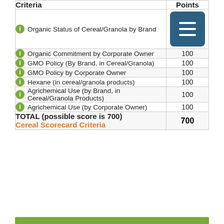| Criteria | Points |
| --- | --- |
| Organic Status of Cereal/Granola by Brand | [icon] |
| Organic Commitment by Corporate Owner | 100 |
| GMO Policy (By Brand, in Cereal/Granola) | 100 |
| GMO Policy by Corporate Owner | 100 |
| Hexane (in cereal/granola products) | 100 |
| Agrichemical Use (by Brand, in Cereal/Granola Products) | 100 |
| Agrichemical Use (by Corporate Owner) | 100 |
| TOTAL (possible score is 700)
Cereal Scorecard Criteria | 700 |